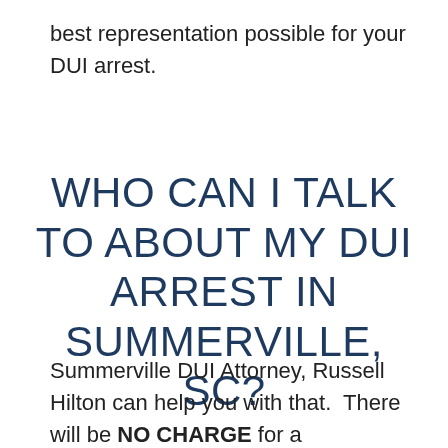best representation possible for your DUI arrest.
WHO CAN I TALK TO ABOUT MY DUI ARREST IN SUMMERVILLE, SC?
Summerville DUI Attorney, Russell Hilton can help you with that.  There will be NO CHARGE for a consultation to review your